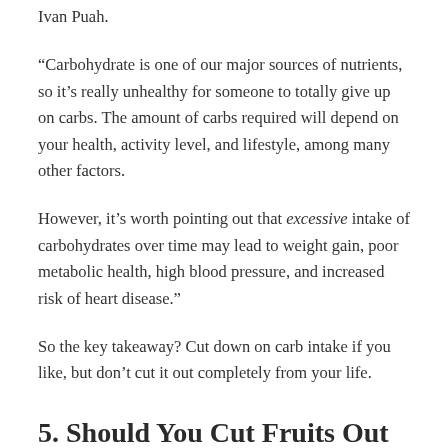Ivan Puah.
“Carbohydrate is one of our major sources of nutrients, so it's really unhealthy for someone to totally give up on carbs. The amount of carbs required will depend on your health, activity level, and lifestyle, among many other factors.
However, it’s worth pointing out that excessive intake of carbohydrates over time may lead to weight gain, poor metabolic health, high blood pressure, and increased risk of heart disease.”
So the key takeaway? Cut down on carb intake if you like, but don’t cut it out completely from your life.
5. Should You Cut Fruits Out Of Your Diet Because Sugar Makes You